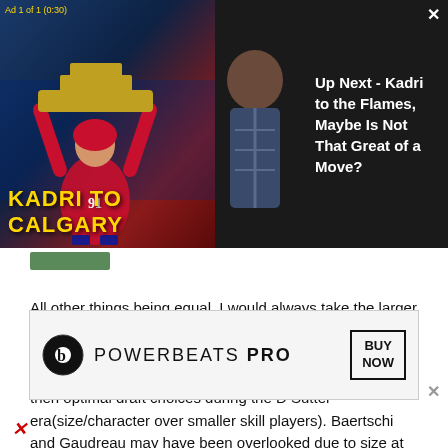[Figure (screenshot): Video thumbnail showing hockey player holding Stanley Cup trophy, with text overlay KADRI TO CALGARY in yellow capital letters, and a presenter visible on the right side against dark background]
Up Next - Kadri to the Flames, Maybe Is Not That Great of a Move?
All other things being equal, I would always take the larger player. All other things are rarely equal though. Yours is the kind of thinking that cost the Flames the services of Martin St. Louis and probably contributed to many less then optimal draft choices during the D Sutter era(size/character over smaller skill players). Baertschi and Gaudreau may have been overlooked due to size at last summer's draft, I'm glad their skills were recognized by the Flames...
[Figure (screenshot): Powerbeats Pro advertisement banner with Beats logo circle, text POWERBEATS PRO, and BUY NOW button box]